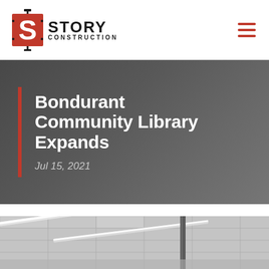Story Construction
Bondurant Community Library Expands
Jul 15, 2021
[Figure (photo): Interior photo of a building ceiling with white ceiling tiles and linear LED light strips]